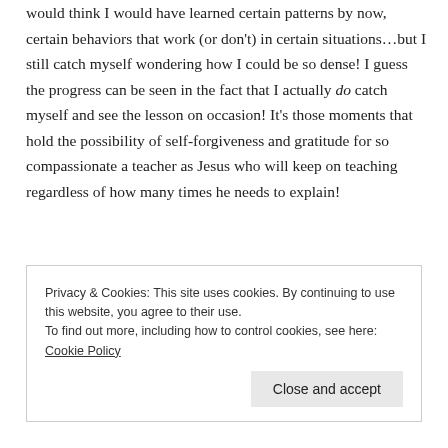would think I would have learned certain patterns by now, certain behaviors that work (or don't) in certain situations…but I still catch myself wondering how I could be so dense! I guess the progress can be seen in the fact that I actually do catch myself and see the lesson on occasion! It's those moments that hold the possibility of self-forgiveness and gratitude for so compassionate a teacher as Jesus who will keep on teaching regardless of how many times he needs to explain!
Privacy & Cookies: This site uses cookies. By continuing to use this website, you agree to their use.
To find out more, including how to control cookies, see here: Cookie Policy
Close and accept